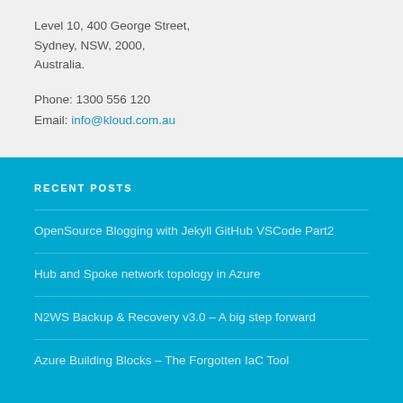Level 10, 400 George Street,
Sydney, NSW, 2000,
Australia.
Phone: 1300 556 120
Email: info@kloud.com.au
RECENT POSTS
OpenSource Blogging with Jekyll GitHub VSCode Part2
Hub and Spoke network topology in Azure
N2WS Backup & Recovery v3.0 – A big step forward
Azure Building Blocks – The Forgotten IaC Tool